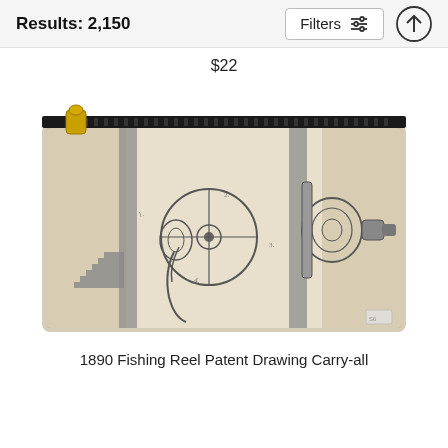Results: 2,150
$22
[Figure (photo): A carry-all pouch featuring a vintage 1890 Fishing Reel Patent Drawing print on beige/cream background with a gold zipper at the top.]
1890 Fishing Reel Patent Drawing Carry-all